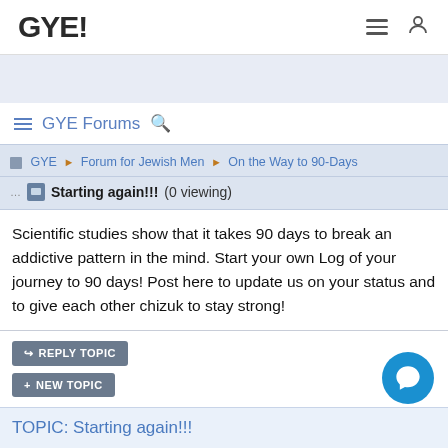GYE!
GYE Forums
GYE ▶ Forum for Jewish Men ▶ On the Way to 90-Days
Starting again!!! (0 viewing)
Scientific studies show that it takes 90 days to break an addictive pattern in the mind. Start your own Log of your journey to 90 days! Post here to update us on your status and to give each other chizuk to stay strong!
REPLY TOPIC
NEW TOPIC
Page: 1 ... 4 5 6 7 8 9 10 11
TOPIC: Starting again!!!